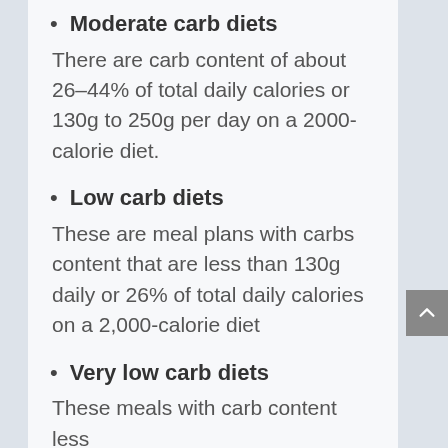Moderate carb diets
There are carb content of about 26–44% of total daily calories or 130g to 250g per day on a 2000-calorie diet.
Low carb diets
These are meal plans with carbs content that are less than 130g daily or 26% of total daily calories on a 2,000-calorie diet
Very low carb diets
These meals with carb content less